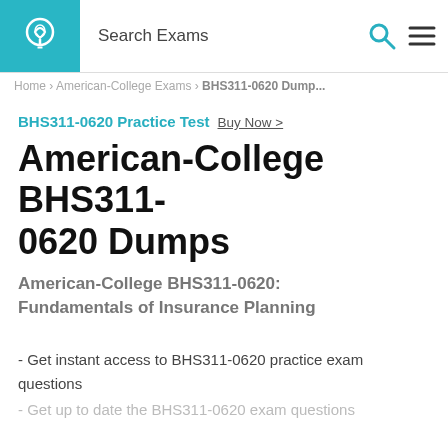[Figure (logo): Light bulb logo icon on teal/cyan background square]
Search Exams
Home > American-College Exams > BHS311-0620 Dump...
BHS311-0620 Practice Test  Buy Now >
American-College BHS311-0620 Dumps
American-College BHS311-0620: Fundamentals of Insurance Planning
- Get instant access to BHS311-0620 practice exam questions
- Get up to date the BHS311-0620 exam questions